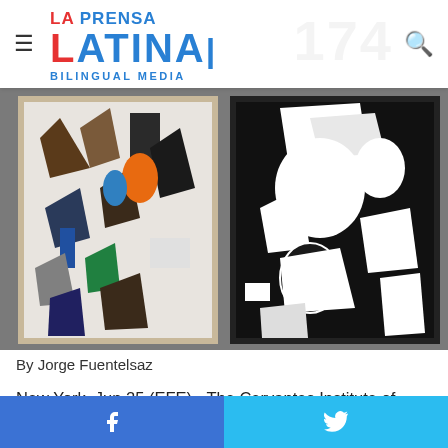LA PRENSA LATINA BILINGUAL MEDIA
[Figure (photo): Two abstract artworks hanging on a gallery wall. Left painting is colorful with white background featuring abstract shapes in brown, blue, orange, and black. Right painting is a high-contrast black and white abstract composition.]
By Jorge Fuentelsaz
New York, Jun 25 (EFE).- The Cervantes Institute of New York will inaugurate an exhibit next week featuring various works by five Hispanic artists that celebrate the language of art and the